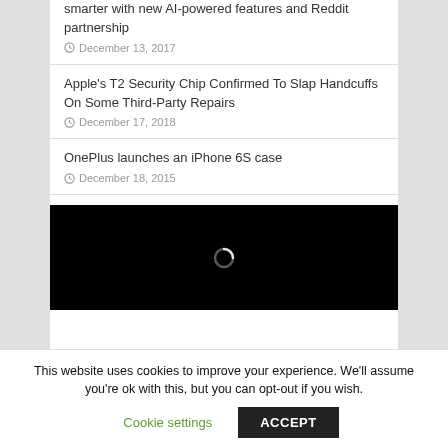smarter with new AI-powered features and Reddit partnership
December 13, 2017
Apple's T2 Security Chip Confirmed To Slap Handcuffs On Some Third-Party Repairs
December 17, 2018
OnePlus launches an iPhone 6S case
December 18, 2015
[Figure (screenshot): Black video player loading screen with spinner icon]
This website uses cookies to improve your experience. We'll assume you're ok with this, but you can opt-out if you wish.
Cookie settings   ACCEPT